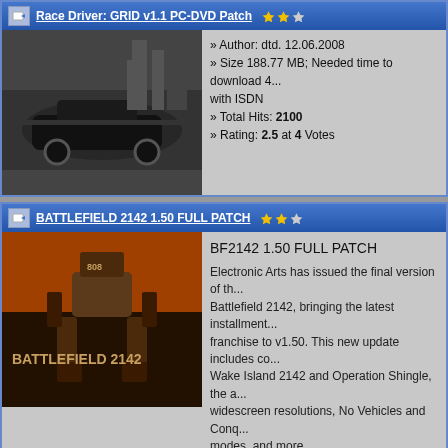Race Driver: GRID v1.1 PC-DVD Patch
» Author: dtd. 12.06.2008
» Size 188.77 MB; Needed time to download 4... with ISDN
» Total Hits: 2100
» Rating: 2.5 at 4 Votes
BATTLEFIELD 2142 1.50 FULL PATCH
BF2142 1.50 FULL PATCH

Electronic Arts has issued the final version of th... Battlefield 2142, bringing the latest installment... franchise to v1.50. This new update includes co... Wake Island 2142 and Operation Shingle, the a... widescreen resolutions, No Vehicles and Conq... modes, and more.

» Author: dtd. 05.06.2008
» Size 525.3 MB; Needed time to download 11... with ISDN
» Total Hits: 1745
» Rating: 1 at 1 Votes
COD4MW PATCH 1.6 FULL
Call of Duty 4 1.6 full patch